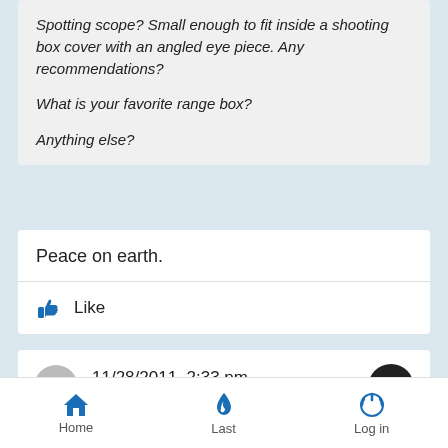Spotting scope? Small enough to fit inside a shooting box cover with an angled eye piece. Any recommendations?

What is your favorite range box?

Anything else?
Peace on earth.
Like
11/28/2011, 2:33 pm
by Steve B
Home   Last   Log in